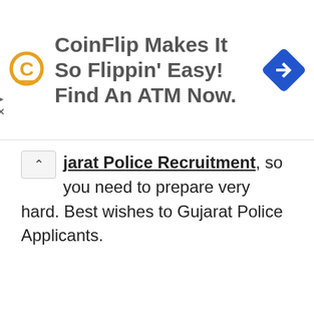[Figure (screenshot): Advertisement banner for CoinFlip ATM finder with logo and navigation arrow icon. Text reads: CoinFlip Makes It So Flippin' Easy! Find An ATM Now.]
jarat Police Recruitment, so you need to prepare very hard. Best wishes to Gujarat Police Applicants.